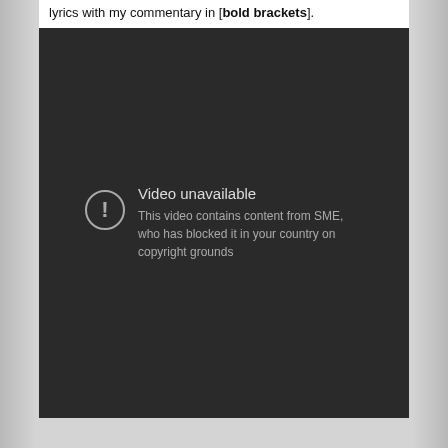lyrics with my commentary in [bold brackets].
[Figure (screenshot): A dark video player showing 'Video unavailable' error message. The message reads: 'This video contains content from SME, who has blocked it in your country on copyright grounds'. An exclamation mark icon in a circle appears to the left of the text.]